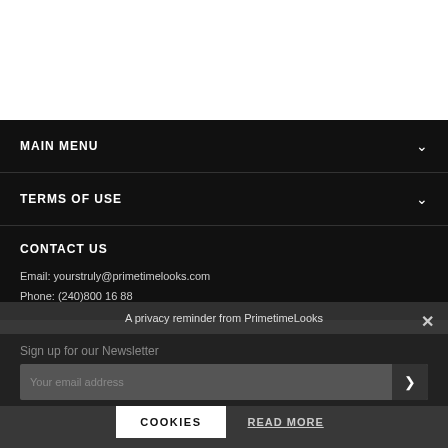MAIN MENU
TERMS OF USE
CONTACT US
Email: yourstruly@primetimelooks.com
Phone: (240)800 16 88
A privacy reminder from PrimetimeLooks
Sign up for our Newsletter
Your email address